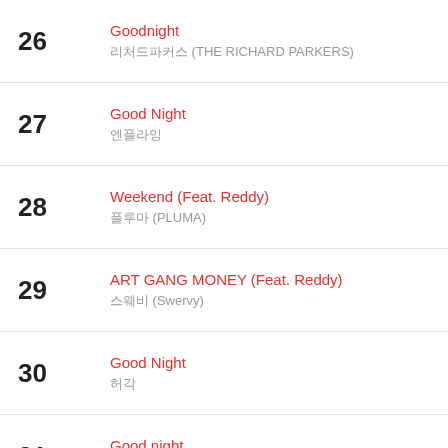26 | Goodnight | 리처드파커스 (THE RICHARD PARKERS)
27 | Good Night | 엔플라잉
28 | Weekend (Feat. Reddy) | 플루마 (PLUMA)
29 | ART GANG MONEY (Feat. Reddy) | 스웨비 (Swervy)
30 | Good Night | 허각
31 | Good night | 태연